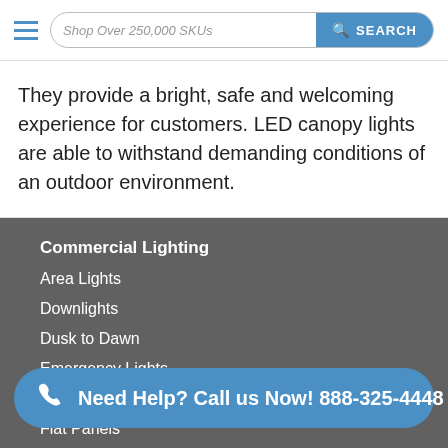Shop Over 250,000 SKUs — SEARCH
They provide a bright, safe and welcoming experience for customers. LED canopy lights are able to withstand demanding conditions of an outdoor environment.
Commercial Lighting
Area Lights
Downlights
Dusk to Dawn
Emergency Lights
Ex...
Flat Panels
Need Help? Call us Now! 888-325-4448